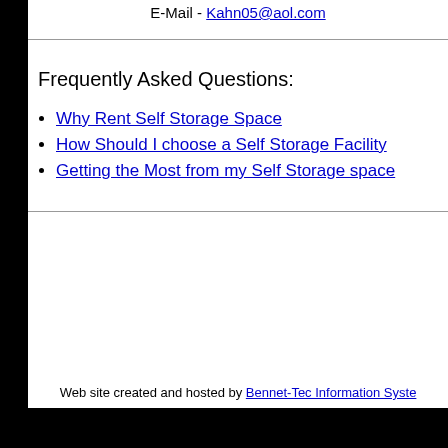E-Mail - Kahn05@aol.com
Frequently Asked Questions:
Why Rent Self Storage Space
How Should I choose a Self Storage Facility
Getting the Most from my Self Storage space
Web site created and hosted by Bennet-Tec Information Syste